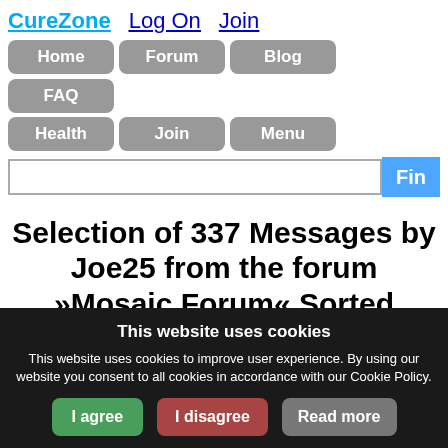CureZone  Log On  Join
Home
Forum
Blog
FAQ
Health
Join
Menu
Selection of 337 Messages by Joe25 from the forum »Mosaic Forum« Sorted Chronologically
This website uses cookies
This website uses cookies to improve user experience. By using our website you consent to all cookies in accordance with our Cookie Policy.
I agree
I disagree
Read more